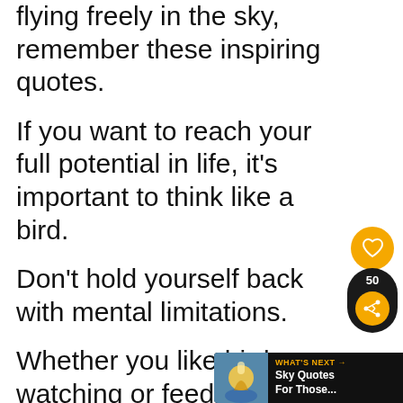flying freely in the sky, remember these inspiring quotes.
If you want to reach your full potential in life, it's important to think like a bird.
Don't hold yourself back with mental limitations.
Whether you like bird watching or feeding birds in the park, you enjoy these beautiful and motivational quotes.
[Figure (other): Heart/like button UI element - orange circle with heart icon]
[Figure (other): Share bubble UI element - dark pill shape with count 50 and orange share icon]
[Figure (other): What's Next bar - black bar with thumbnail and text 'Sky Quotes For Those...']